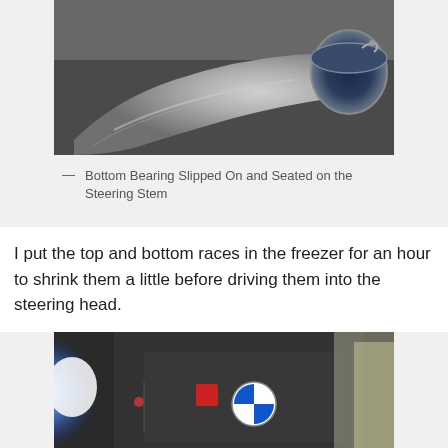[Figure (photo): Close-up photo of a metal bottom bearing slipped on and seated on the steering stem, showing polished aluminum/steel component on a dark background]
— Bottom Bearing Slipped On and Seated on the Steering Stem
I put the top and bottom races in the freezer for an hour to shrink them a little before driving them into the steering head.
[Figure (photo): Close-up photo showing a BMW motorcycle part near freezer or cooler, with blue light glare on left, a red indicator light, and BMW roundel logo visible]